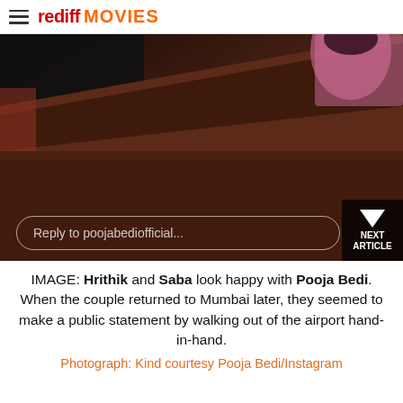rediff MOVIES
[Figure (photo): Partial view of people at what appears to be an Instagram scene; dominant brown/dark background with a person in pink visible at top right. A reply input bar reads 'Reply to poojabediofficial...' overlaid at bottom. A 'NEXT ARTICLE' button is at bottom right.]
IMAGE: Hrithik and Saba look happy with Pooja Bedi. When the couple returned to Mumbai later, they seemed to make a public statement by walking out of the airport hand-in-hand. Photograph: Kind courtesy Pooja Bedi/Instagram